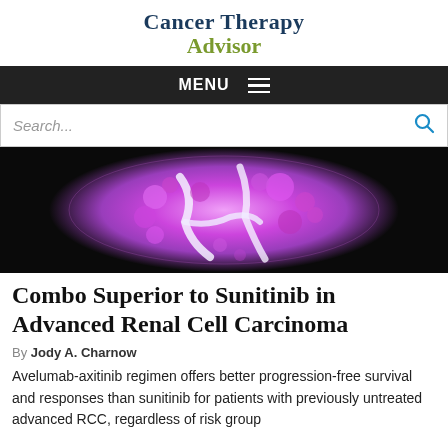Cancer Therapy Advisor
MENU
Search...
[Figure (photo): Microscopy image of renal cell carcinoma tissue stained in pink/magenta against a black background, showing cell structures in circular formation]
Combo Superior to Sunitinib in Advanced Renal Cell Carcinoma
By Jody A. Charnow
Avelumab-axitinib regimen offers better progression-free survival and responses than sunitinib for patients with previously untreated advanced RCC, regardless of risk group